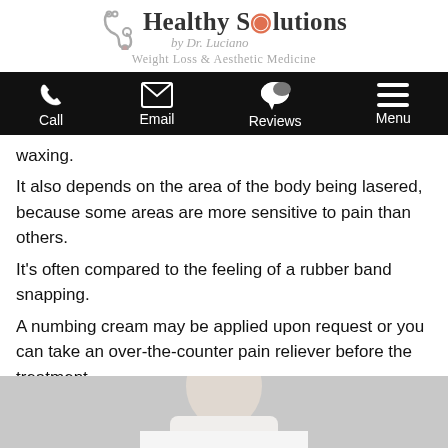Healthy Solutions by Dr. Luciano — Weight Loss & Aesthetic Medicine
[Figure (screenshot): Mobile website navigation bar with Call, Email, Reviews, and Menu icons on black background]
waxing.
It also depends on the area of the body being lasered, because some areas are more sensitive to pain than others.
It's often compared to the feeling of a rubber band snapping.
A numbing cream may be applied upon request or you can take an over-the-counter pain reliever before the treatment.
[Figure (photo): Photo of a person receiving a treatment, partially visible at the bottom of the page]